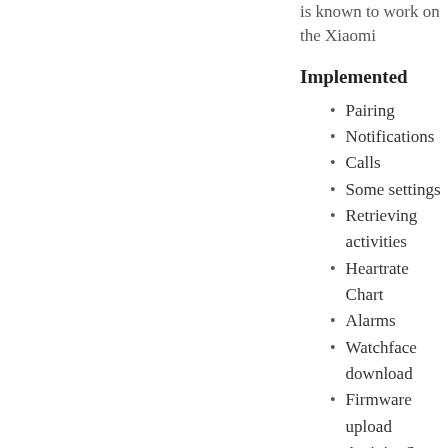is known to work on the Xiaomi
Implemented
Pairing
Notifications
Calls
Some settings
Retrieving activities
Heartrate Chart
Alarms
Watchface download
Firmware upload
Activity Sync
Todo
More Settings
Support other devices (ma
Tip: